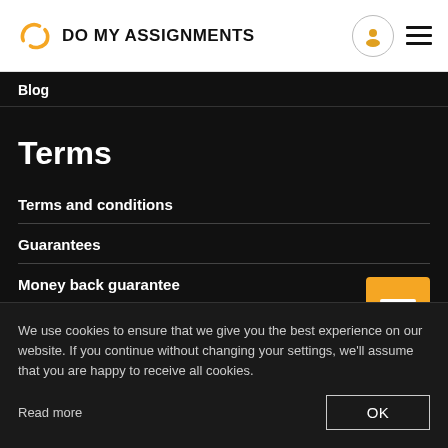DO MY ASSIGNMENTS
Blog
Terms
Terms and conditions
Guarantees
Money back guarantee
P...
P...
C...
P...
S...
[Figure (illustration): Yellow chat/message bubble icon]
We use cookies to ensure that we give you the best experience on our website. If you continue without changing your settings, we'll assume that you are happy to receive all cookies.
Read more
OK